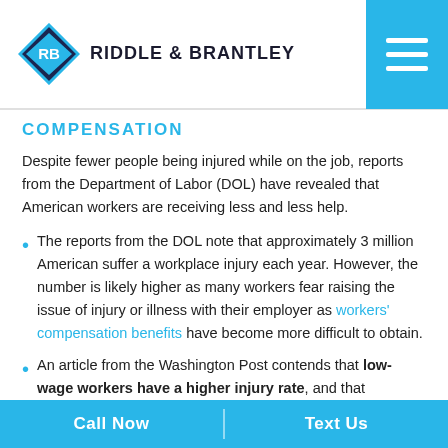RIDDLE & BRANTLEY
COMPENSATION
Despite fewer people being injured while on the job, reports from the Department of Labor (DOL) have revealed that American workers are receiving less and less help.
The reports from the DOL note that approximately 3 million American suffer a workplace injury each year. However, the number is likely higher as many workers fear raising the issue of injury or illness with their employer as workers' compensation benefits have become more difficult to obtain.
An article from the Washington Post contends that low-wage workers have a higher injury rate, and that